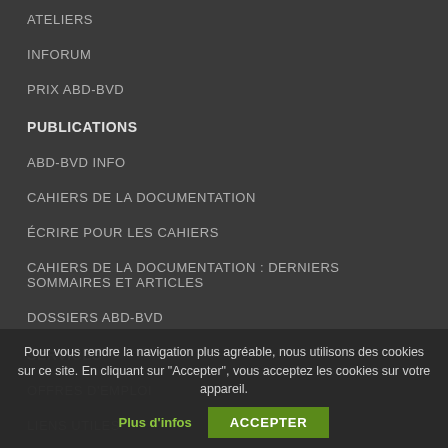ATELIERS
INFORUM
PRIX ABD-BVD
PUBLICATIONS
ABD-BVD INFO
CAHIERS DE LA DOCUMENTATION
ÉCRIRE POUR LES CAHIERS
CAHIERS DE LA DOCUMENTATION : DERNIERS SOMMAIRES ET ARTICLES
DOSSIERS ABD-BVD
SERVICES
OFFRES D'EMPLOI
LIENS UTILES
ABD-BVD SUR LES RÉSEAUX SOCIAUX
NOS MÉTIERS
LES PROFESSIONNELS DE L'INFO
FORMATION
Pour vous rendre la navigation plus agréable, nous utilisons des cookies sur ce site. En cliquant sur "Accepter", vous acceptez les cookies sur votre appareil.